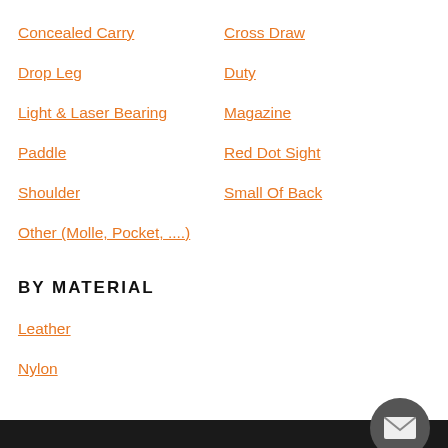Concealed Carry
Cross Draw
Drop Leg
Duty
Light & Laser Bearing
Magazine
Paddle
Red Dot Sight
Shoulder
Small Of Back
Other (Molle, Pocket, ....)
BY MATERIAL
Leather
Nylon